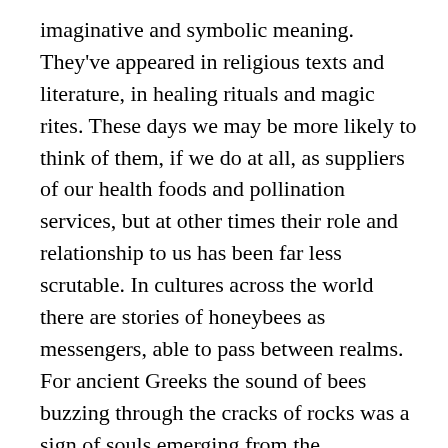imaginative and symbolic meaning. They've appeared in religious texts and literature, in healing rituals and magic rites. These days we may be more likely to think of them, if we do at all, as suppliers of our health foods and pollination services, but at other times their role and relationship to us has been far less scrutable. In cultures across the world there are stories of honeybees as messengers, able to pass between realms. For ancient Greeks the sound of bees buzzing through the cracks of rocks was a sign of souls emerging from the underworld. The Mayans believed that bees were imbued with mystical power, and in British folklore they're known as small messengers of God.
Other stories take a rather more practical tone. The Greek essayist Plutarch claimed that honeybees were especially bad-tempered toward men who'd recently had sex and that they could sense adultery and punish it by stinging. The Roman writer Columella advised beekeepers to